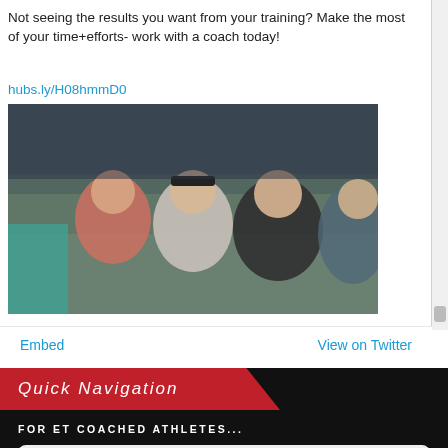Not seeing the results you want from your training? Make the most of your time+efforts- work with a coach today!
hubs.ly/H08hmmD0
[Figure (photo): Four women posing together at what appears to be a triathlon or athletic event, with a crowd in the background]
Embed   View on Twitter
Quick Navigation
FOR ET COACHED ATHLETES...
[Figure (logo): TrainingPeaks logo in bold italic black text on light gray background]